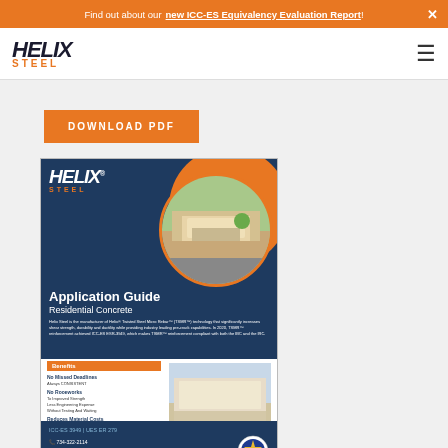Find out about our new ICC-ES Equivalency Evaluation Report!
[Figure (logo): Helix Steel logo with orange STEEL text]
DOWNLOAD PDF
[Figure (screenshot): Helix Steel Application Guide – Residential Concrete PDF thumbnail showing blue background with orange circle, house photo, benefits list, ICC-ES 3949, UES ER 279, phone 734-322-2114, www.helixsteel.com]